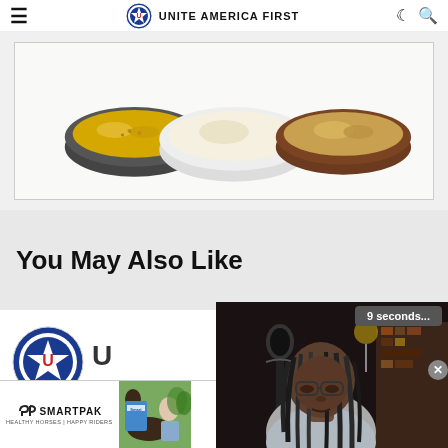Unite America First
[Figure (photo): Food bowls with various dishes including mac and cheese and popcorn on a white background]
You May Also Like
[Figure (logo): Unite America First circular logo with red U and white star on blue background]
[Figure (screenshot): Video overlay showing a person with dreadlocks and glasses in a dark room with bookshelves, timer showing 9 seconds]
[Figure (photo): SmartPak advertisement: 50% Off Two Months of ColiCare, ColiCare Eligible Supplements, CODE: COLICARE10, Shop Now button]